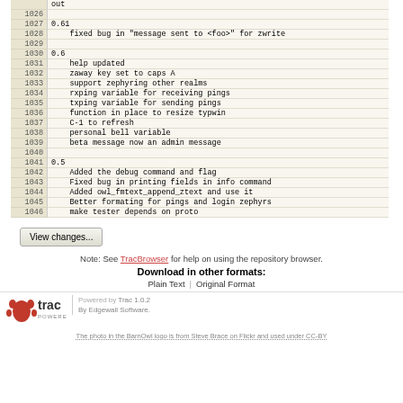| line | content |
| --- | --- |
|  | out |
| 1026 |  |
| 1027 | 0.61 |
| 1028 |     fixed bug in "message sent to <foo>" for zwrite |
| 1029 |  |
| 1030 | 0.6 |
| 1031 |     help updated |
| 1032 |     zaway key set to caps A |
| 1033 |     support zephyring other realms |
| 1034 |     rxping variable for receiving pings |
| 1035 |     txping variable for sending pings |
| 1036 |     function in place to resize typwin |
| 1037 |     C-1 to refresh |
| 1038 |     personal bell variable |
| 1039 |     beta message now an admin message |
| 1040 |  |
| 1041 | 0.5 |
| 1042 |     Added the debug command and flag |
| 1043 |     Fixed bug in printing fields in info command |
| 1044 |     Added owl_fmtext_append_ztext and use it |
| 1045 |     Better formating for pings and login zephyrs |
| 1046 |     make tester depends on proto |
View changes...
Note: See TracBrowser for help on using the repository browser.
Download in other formats:
Plain Text | Original Format
Powered by Trac 1.0.2 By Edgewall Software.
The photo in the BarnOwl logo is from Steve Brace on Flickr and used under CC-BY